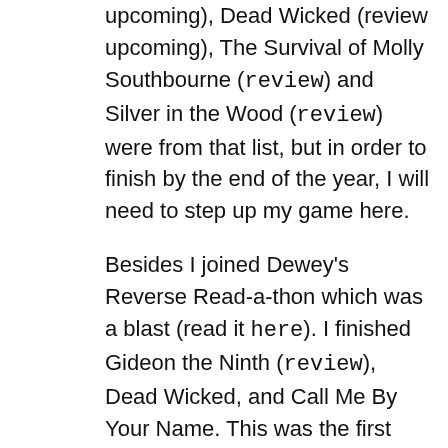upcoming), Dead Wicked (review upcoming), The Survival of Molly Southbourne (review) and Silver in the Wood (review) were from that list, but in order to finish by the end of the year, I will need to step up my game here.
Besides I joined Dewey's Reverse Read-a-thon which was a blast (read it here). I finished Gideon the Ninth (review), Dead Wicked, and Call Me By Your Name. This was the first time I actually succeeded in reading a lot during a read-a-thon.
This gave me high hopes for the other read-a-thon I had planned later in the month – Bout of Books. While it ran a week, I only managed to finish two books, less than in the 24 hours of Dewey's, due to all week busyness and not having a lot of time to read. Still the Manga of Anne of Green Gables (review upcoming) and Riot Baby (review